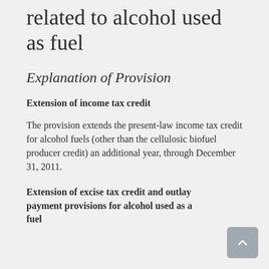related to alcohol used as fuel
Explanation of Provision
Extension of income tax credit
The provision extends the present-law income tax credit for alcohol fuels (other than the cellulosic biofuel producer credit) an additional year, through December 31, 2011.
Extension of excise tax credit and outlay payment provisions for alcohol used as a fuel